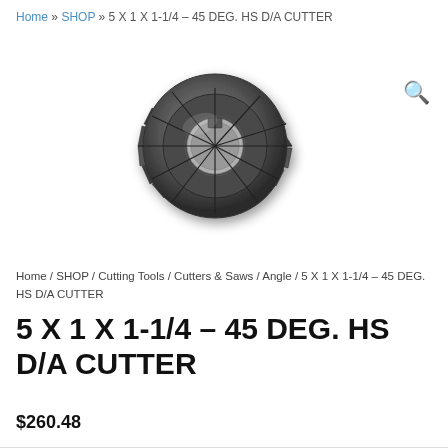Home » SHOP » 5 X 1 X 1-1/4 – 45 DEG. HS D/A CUTTER
[Figure (photo): Photograph of a 5 X 1 X 1-1/4 – 45 DEG. HS D/A Cutter (angle milling cutter with multiple teeth, dark metallic finish, circular with central bore)]
Home / SHOP / Cutting Tools / Cutters & Saws / Angle / 5 X 1 X 1-1/4 – 45 DEG. HS D/A CUTTER
5 X 1 X 1-1/4 – 45 DEG. HS D/A CUTTER
$260.48